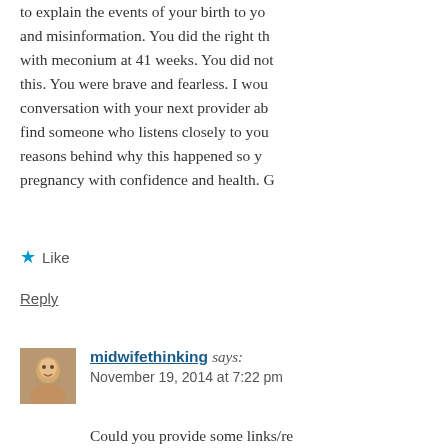to explain the events of your birth to yo... and misinformation. You did the right th... with meconium at 41 weeks. You did not... this. You were brave and fearless. I wou... conversation with your next provider ab... find someone who listens closely to you... reasons behind why this happened so y... pregnancy with confidence and health. ...
Like
Reply
midwifethinking says:
November 19, 2014 at 7:22 pm
Could you provide some links/re... your statement that my informa... happy to edit and amend posts i... information. I tend to assume th...